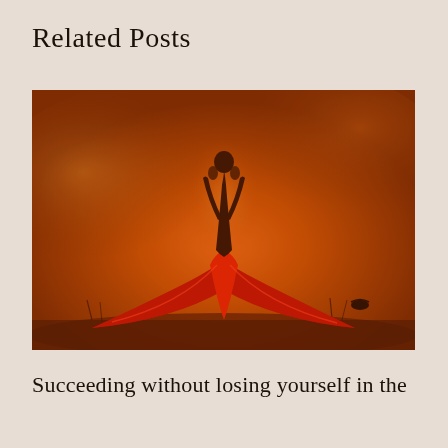Related Posts
[Figure (photo): A silhouette of a woman in a flowing red dress with arms raised overhead, standing in a misty golden-orange landscape. The dramatic backlit scene creates a warm, fiery atmosphere with glowing orange tones throughout.]
Succeeding without losing yourself in the process